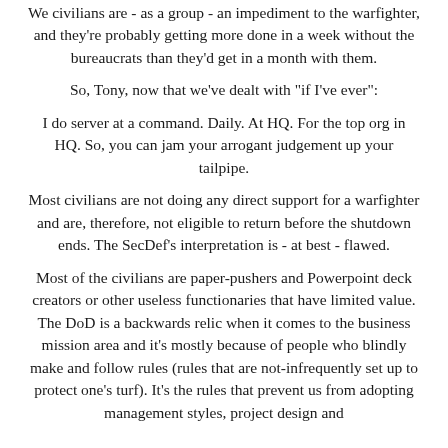We civilians are - as a group - an impediment to the warfighter, and they're probably getting more done in a week without the bureaucrats than they'd get in a month with them.
So, Tony, now that we've dealt with "if I've ever":
I do server at a command. Daily. At HQ. For the top org in HQ. So, you can jam your arrogant judgement up your tailpipe.
Most civilians are not doing any direct support for a warfighter and are, therefore, not eligible to return before the shutdown ends. The SecDef's interpretation is - at best - flawed.
Most of the civilians are paper-pushers and Powerpoint deck creators or other useless functionaries that have limited value. The DoD is a backwards relic when it comes to the business mission area and it's mostly because of people who blindly make and follow rules (rules that are not-infrequently set up to protect one's turf). It's the rules that prevent us from adopting management styles, project design and